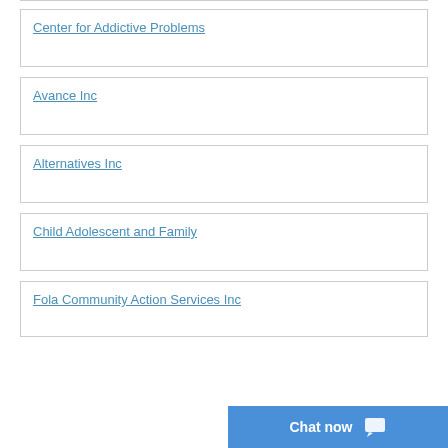Center for Addictive Problems
Avance Inc
Alternatives Inc
Child Adolescent and Family
Fola Community Action Services Inc